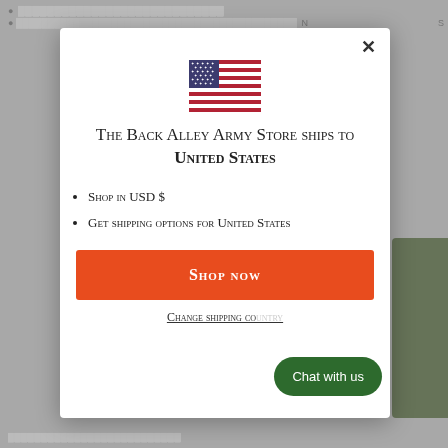[Figure (screenshot): Modal dialog overlay on a grey e-commerce page background. The modal contains a US flag icon, title text, bullet points about USD shopping and shipping, a red Shop Now button, and a Change shipping country link. A green Chat with us button appears in the bottom right.]